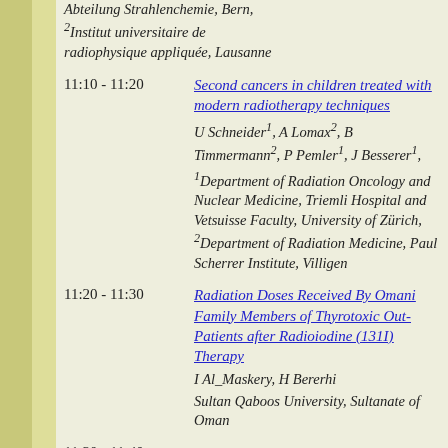Abteilung Strahlenchemie, Bern, 2Institut universitaire de radiophysique appliquée, Lausanne
11:10 - 11:20 Second cancers in children treated with modern radiotherapy techniques
U Schneider1, A Lomax2, B Timmermann2, P Pemler1, J Besserer1,
1Department of Radiation Oncology and Nuclear Medicine, Triemli Hospital and Vetsuisse Faculty, University of Zürich, 2Department of Radiation Medicine, Paul Scherrer Institute, Villigen
11:20 - 11:30 Radiation Doses Received By Omani Family Members of Thyrotoxic Out-Patients after Radioiodine (131I) Therapy
I Al_Maskery, H Bererhi
Sultan Qaboos University, Sultanate of Oman
11:30 - 11:40 Mass detection on mammograms: how do humans and models deal with